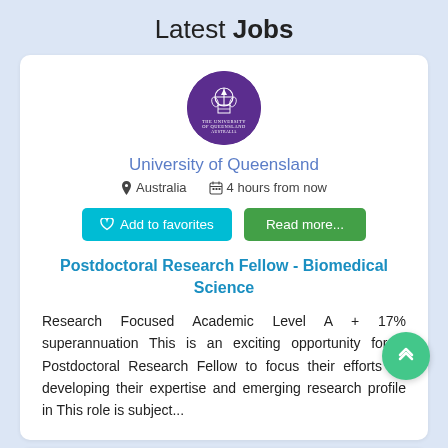Latest Jobs
[Figure (logo): University of Queensland circular logo with purple background and white crest/text]
University of Queensland
Australia   4 hours from now
♡ Add to favorites   Read more...
Postdoctoral Research Fellow - Biomedical Science
Research Focused Academic Level A + 17% superannuation This is an exciting opportunity for a Postdoctoral Research Fellow to focus their efforts on developing their expertise and emerging research profile in This role is subject...